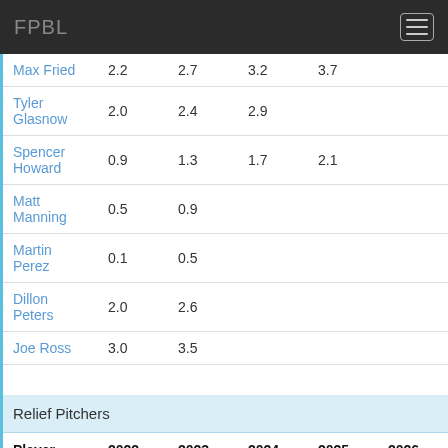FPBL
| Player | 2022 | 2023 | 2024 | 2025 | 2026 |
| --- | --- | --- | --- | --- | --- |
| Max Fried | 2.2 | 2.7 | 3.2 | 3.7 |  |
| Tyler Glasnow | 2.0 | 2.4 | 2.9 |  |  |
| Spencer Howard | 0.9 | 1.3 | 1.7 | 2.1 |  |
| Matt Manning | 0.5 | 0.9 |  |  |  |
| Martin Perez | 0.1 | 0.5 |  |  |  |
| Dillon Peters | 2.0 | 2.6 |  |  |  |
| Joe Ross | 3.0 | 3.5 |  |  |  |
Relief Pitchers
| Player | 2022 | 2023 | 2024 | 2025 | 2026 |
| --- | --- | --- | --- | --- | --- |
| Jeurys Familia | 0.1 |  |  |  |  |
| Yimi Garcia | 0.3 |  |  |  |  |
| Gio Gonzalez | 0.5 |  |  |  |  |